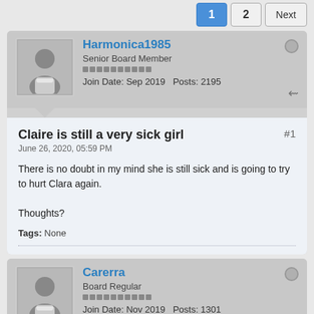1  2  Next
Harmonica1985
Senior Board Member
Join Date: Sep 2019  Posts: 2195
Claire is still a very sick girl
June 26, 2020, 05:59 PM
There is no doubt in my mind she is still sick and is going to try to hurt Clara again.

Thoughts?
Tags: None
Carerra
Board Regular
Join Date: Nov 2019  Posts: 1301